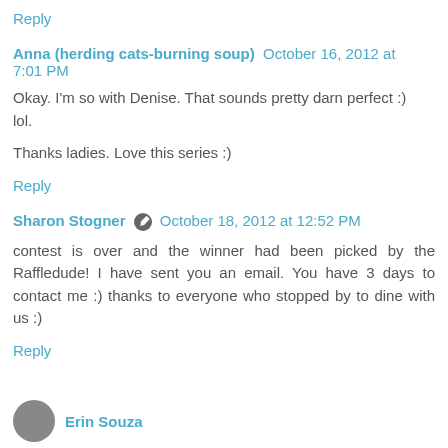Reply
Anna (herding cats-burning soup) October 16, 2012 at 7:01 PM
Okay. I'm so with Denise. That sounds pretty darn perfect :) lol.
Thanks ladies. Love this series :)
Reply
Sharon Stogner [edit icon] October 18, 2012 at 12:52 PM
contest is over and the winner had been picked by the Raffledude! I have sent you an email. You have 3 days to contact me :) thanks to everyone who stopped by to dine with us :)
Reply
Erin Souza...